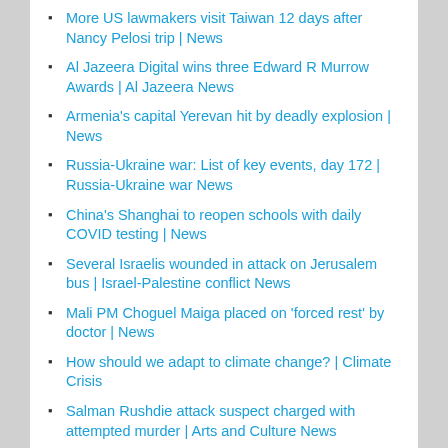More US lawmakers visit Taiwan 12 days after Nancy Pelosi trip | News
Al Jazeera Digital wins three Edward R Murrow Awards | Al Jazeera News
Armenia's capital Yerevan hit by deadly explosion | News
Russia-Ukraine war: List of key events, day 172 | Russia-Ukraine war News
China's Shanghai to reopen schools with daily COVID testing | News
Several Israelis wounded in attack on Jerusalem bus | Israel-Palestine conflict News
Mali PM Choguel Maiga placed on 'forced rest' by doctor | News
How should we adapt to climate change? | Climate Crisis
Salman Rushdie attack suspect charged with attempted murder | Arts and Culture News
Taliban disperses Afghan women's march for 'work and freedom' | News
Japanese minister visits Yasukuni shrine for war dead: Report | News